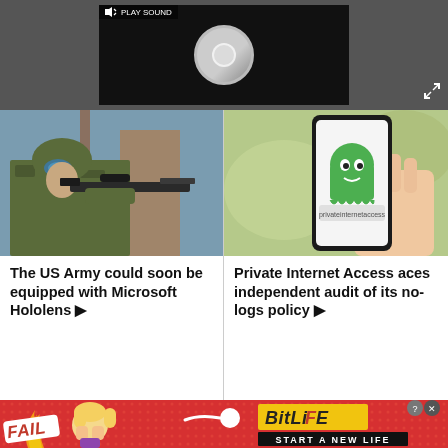[Figure (screenshot): Dark video player section with loading spinner and PLAY SOUND label, on dark gray background with fullscreen icon]
[Figure (photo): US Army soldier in camouflage gear aiming rifle through a window]
The US Army could soon be equipped with Microsoft Hololens ▶
[Figure (photo): Hand holding smartphone displaying Private Internet Access VPN app with green ghost mascot]
Private Internet Access aces independent audit of its no-logs policy ▶
[Figure (screenshot): BitLife advertisement banner with FAIL text, animated character, flames, and START A NEW LIFE tagline on red background]